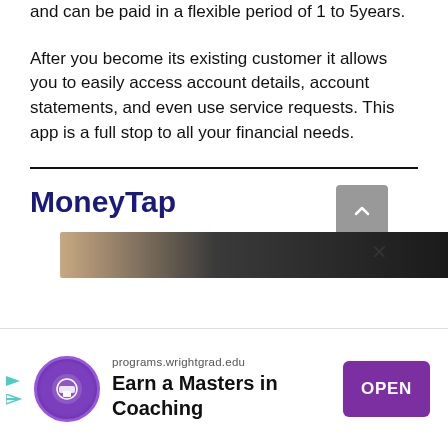and can be paid in a flexible period of 1 to 5years.
After you become its existing customer it allows you to easily access account details, account statements, and even use service requests. This app is a full stop to all your financial needs.
MoneyTap
[Figure (photo): Dark photo strip showing a person, partially visible]
[Figure (infographic): Advertisement banner: programs.wrightgrad.edu — Earn a Masters in Coaching — OPEN button, with Wright Graduate University logo]